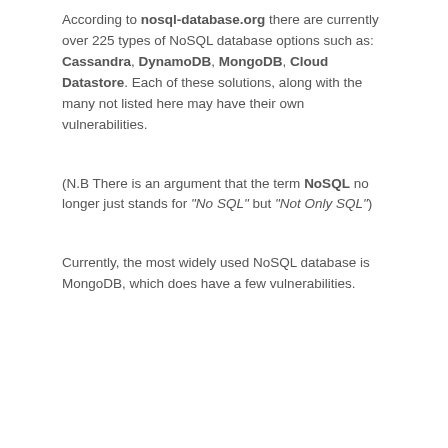According to nosql-database.org there are currently over 225 types of NoSQL database options such as: Cassandra, DynamoDB, MongoDB, Cloud Datastore. Each of these solutions, along with the many not listed here may have their own vulnerabilities.
(N.B There is an argument that the term NoSQL no longer just stands for "No SQL" but "Not Only SQL")
Currently, the most widely used NoSQL database is MongoDB, which does have a few vulnerabilities.